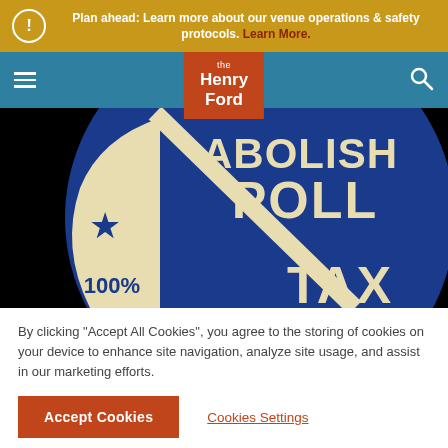Plan ahead: Learn more about our venue operations & safety protocols. Learn More.
[Figure (logo): The Henry Ford museum logo — white text on red/orange background reading 'the Henry Ford']
[Figure (photo): Close-up photo of a vintage blue and cream pinback button reading 'ABOLISH POLL TAX 100%' with a star motif, on black background]
By clicking "Accept All Cookies", you agree to the storing of cookies on your device to enhance site navigation, analyze site usage, and assist in our marketing efforts.
Accept Cookies
Cookies Settings